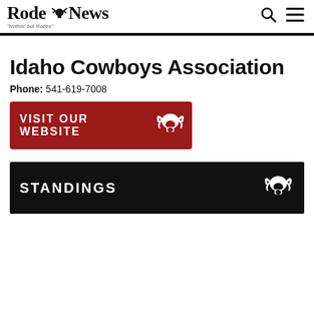Rodeo News — Nothin' but Rodeo
Idaho Cowboys Association
Phone: 541-619-7008
[Figure (other): Red button with bull skull logo reading VISIT OUR WEBSITE]
STANDINGS